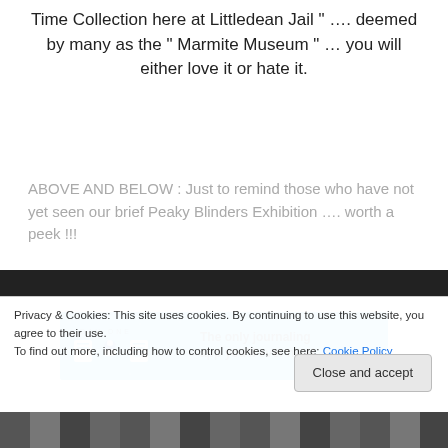Time Collection here at Littledean Jail " …. deemed by many as the " Marmite Museum " … you will either love it or hate it.
ABOVE AND BELOW : Just to remind those who have not yet seen our brief Peaky Blinders Exhibition …. worth a peek !!!
[Figure (screenshot): DAY ONE app advertisement banner — blue background with icons and text: 'The only journaling app you'll ever need.']
Privacy & Cookies: This site uses cookies. By continuing to use this website, you agree to their use.
To find out more, including how to control cookies, see here: Cookie Policy
[Figure (photo): Black and white group photo of people at the bottom of the page, partially visible.]